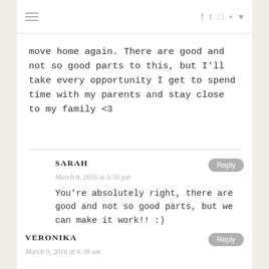≡  f  𝒕  📷  𝗽  ♥
move home again. There are good and not so good parts to this, but I'll take every opportunity I get to spend time with my parents and stay close to my family <3
SARAH
March 8, 2016 at 6:56 pm
You're absolutely right, there are good and not so good parts, but we can make it work!!  :)
VERONIKA
March 9, 2016 at 6:38 am